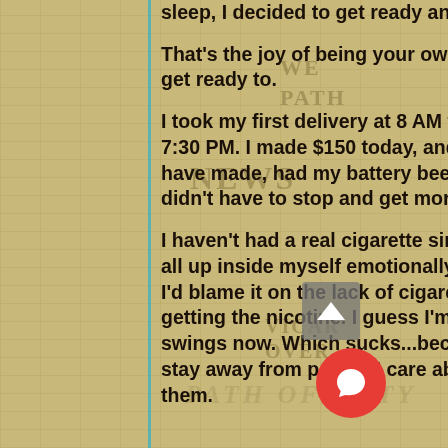sleep, I decided to get ready and go on to work.
That's the joy of being your own boss. You can go to work when you get ready to.
I took my first delivery at 8 AM this morning. My last one was at roughly 7:30 PM. I made $150 today, and still don't feel like I made what I could have made, had my battery been able to keep up on my phone and I didn't have to stop and get more gas.
I haven't had a real cigarette since Thursday morning, and today I was all up inside myself emotionally. Not me at all. I hate when I get like that. I'd blame it on the lack of cigarettes, except I am still vaping, so I'm still getting the nicotine. I guess I'm just suffering menopausal mood swings now. Which sucks...because that means I'm going to have to stay away from people I care about, ra than risk acting stupid around them.
[Figure (other): Newspaper/vintage background texture with words WE, PATH, NEWS, VICAR, OVER, PATH OF DUTY visible as watermark text]